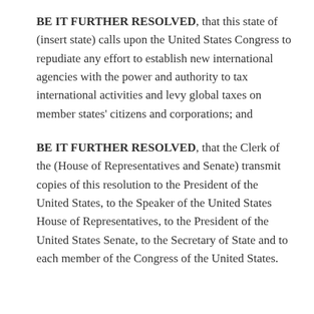BE IT FURTHER RESOLVED, that this state of (insert state) calls upon the United States Congress to repudiate any effort to establish new international agencies with the power and authority to tax international activities and levy global taxes on member states' citizens and corporations; and
BE IT FURTHER RESOLVED, that the Clerk of the (House of Representatives and Senate) transmit copies of this resolution to the President of the United States, to the Speaker of the United States House of Representatives, to the President of the United States Senate, to the Secretary of State and to each member of the Congress of the United States.